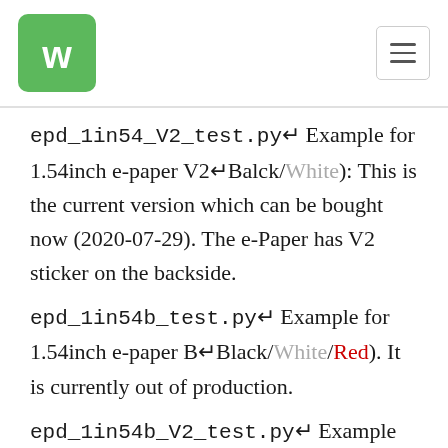Waveshare logo and navigation
epd_1in54_V2_test.py→ Example for 1.54inch e-paper V2→Balck/White): This is the current version which can be bought now (2020-07-29). The e-Paper has V2 sticker on the backside.
epd_1in54b_test.py→ Example for 1.54inch e-paper B→Black/White/Red). It is currently out of production.
epd_1in54b_V2_test.py→ Example for 1.54inch e-paper B V2 (Black/White/Red). The purchase date is later than April 2020 is the V2 version, the current shipping version has the V2 logo on